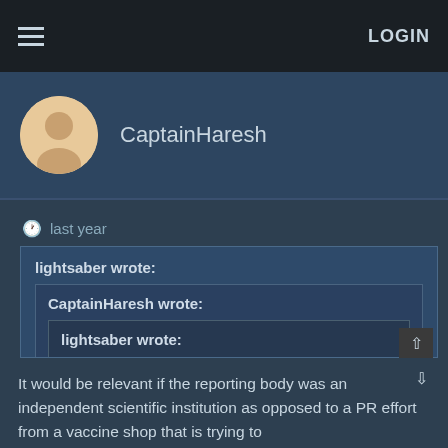≡  LOGIN
CaptainHaresh
last year
lightsaber wrote:
CaptainHaresh wrote:
lightsaber wrote:
Great news from Israel:
No deaths among fully vaccinated in Israel:

https://www.msn.com/en-us/news/other/0- ... r-BB1dDcl7

Pfizer-BioNTech's COVID-19 vaccine was 93% effective at protecting against COVID-19, a leading Israeli healthcare provider
It would be relevant if the reporting body was an independent scientific institution as opposed to a PR effort from a vaccine shop that is trying to